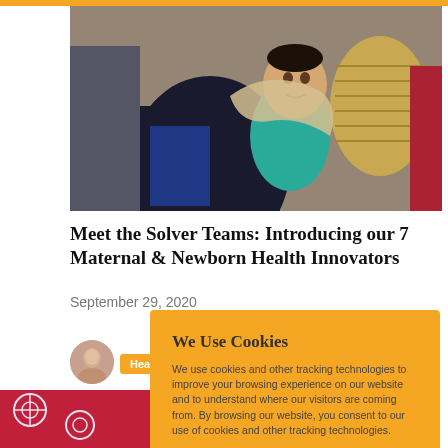[Figure (photo): Woman carrying a baby on her back in traditional clothing, baby looking at camera, basket visible]
Meet the Solver Teams: Introducing our 7 Maternal & Newborn Health Innovators
September 29, 2020
[Figure (photo): Author profile circle photo of a woman]
Hea
[Figure (photo): Lower partial photo with red background and snowflake-like pattern]
We Use Cookies
We use cookies and other tracking technologies to improve your browsing experience on our website and to understand where our visitors are coming from. By browsing our website, you consent to our use of cookies and other tracking technologies.
ACCEPT
REJECT